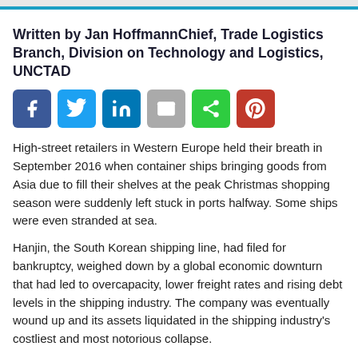Written by Jan HoffmannChief, Trade Logistics Branch, Division on Technology and Logistics, UNCTAD
[Figure (infographic): Social sharing buttons: Facebook, Twitter, LinkedIn, Email, Share, Pinterest]
High-street retailers in Western Europe held their breath in September 2016 when container ships bringing goods from Asia due to fill their shelves at the peak Christmas shopping season were suddenly left stuck in ports halfway. Some ships were even stranded at sea.
Hanjin, the South Korean shipping line, had filed for bankruptcy, weighed down by a global economic downturn that had led to overcapacity, lower freight rates and rising debt levels in the shipping industry. The company was eventually wound up and its assets liquidated in the shipping industry's costliest and most notorious collapse.
To avoid this fate, shipping companies have for many years increasingly merged or bought each other in a classic process of consolidation that is having profound effects on the efforts of